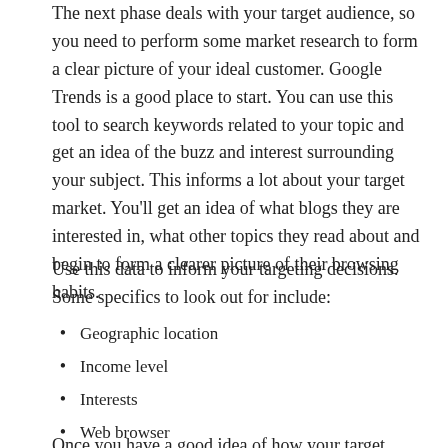The next phase deals with your target audience, so you need to perform some market research to form a clear picture of your ideal customer. Google Trends is a good place to start. You can use this tool to search keywords related to your topic and get an idea of the buzz and interest surrounding your subject. This informs a lot about your target market. You'll get an idea of what blogs they are interested in, what other topics they read about and begin to form a clearer picture of their browsing habits.
Use this data to inform your targeting decisions. Some specifics to look out for include:
Geographic location
Income level
Interests
Web browser
Device (tablet or desktop)
Once you have a good idea of how your target...